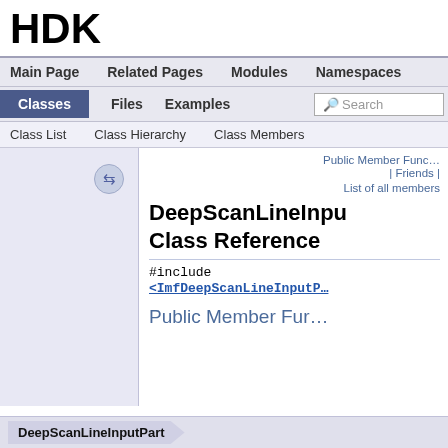HDK
Main Page | Related Pages | Modules | Namespaces
Classes | Files | Examples | Search
Class List | Class Hierarchy | Class Members
Public Member Functions | Friends | List of all members
DeepScanLineInputPart Class Reference
#include <ImfDeepScanLineInputPart>
Public Member Functions
DeepScanLineInputPart